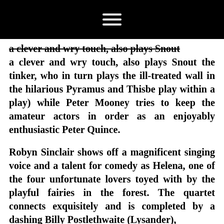☰
a clever and wry touch, also plays Snout the tinker, who in turn plays the ill-treated wall in the hilarious Pyramus and Thisbe play within a play) while Peter Mooney tries to keep the amateur actors in order as an enjoyably enthusiastic Peter Quince.
Robyn Sinclair shows off a magnificent singing voice and a talent for comedy as Helena, one of the four unfortunate lovers toyed with by the playful fairies in the forest. The quartet connects exquisitely and is completed by a dashing Billy Postlethwaite (Lysander),